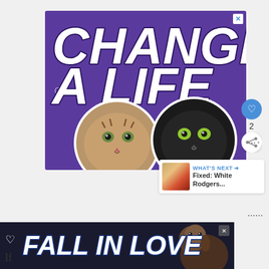[Figure (illustration): Purple advertisement banner with bold white italic text 'CHANGE A LIFE', a heart outline, and two cat face photos (tabby cat and black cat) on a purple background with a close button X]
2
[Figure (photo): What's Next thumbnail showing a person, with text 'WHAT'S NEXT → Fixed: White Rodgers...']
[Figure (illustration): Dark navy bottom advertisement banner with bold white italic text 'FALL IN LOVE' and a dog photo, with a heart outline and close button]
If